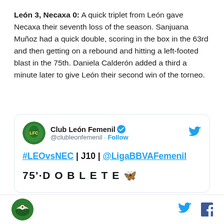León 3, Necaxa 0: A quick triplet from León gave Necaxa their seventh loss of the season. Sanjuana Muñoz had a quick double, scoring in the box in the 63rd and then getting on a rebound and hitting a left-footed blast in the 75th. Daniela Calderón added a third a minute later to give León their second win of the torneo.
[Figure (screenshot): Embedded tweet from Club León Femenil (@clubleonfemenil) with verified badge, Follow button, Twitter bird icon, tweet text '#LEOvsNEC | J10 | @LigaBBVAFemenil' and partial text '75' DOBLЕТЕ 🦋']
Footer bar with Necaxa bird logo on left, Twitter and Facebook icons on right